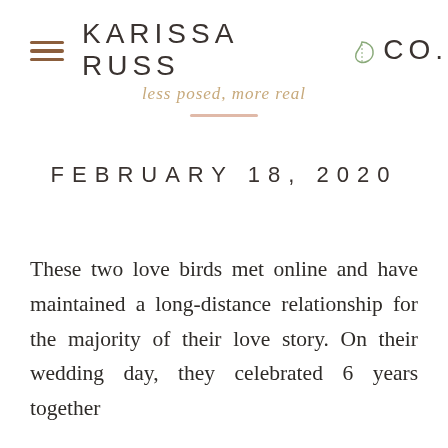KARISSA RUSS & CO. less posed, more real
FEBRUARY 18, 2020
These two love birds met online and have maintained a long-distance relationship for the majority of their love story. On their wedding day, they celebrated 6 years together